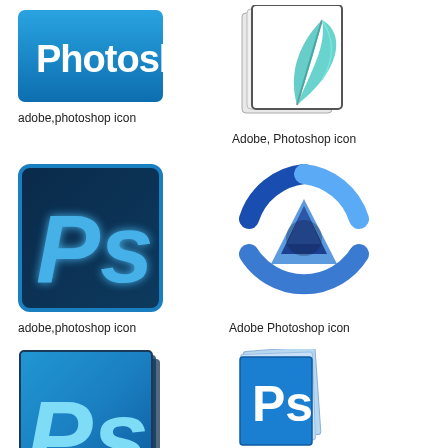[Figure (logo): Adobe Photoshop blue rectangle icon with 'Photoshop' text in white]
adobe,photoshop icon
[Figure (logo): Adobe Photoshop feather/document icon with teal feather on white pages]
Adobe, Photoshop icon
[Figure (logo): Adobe Photoshop Ps dark blue square icon with glowing Ps letters]
adobe,photoshop icon
[Figure (logo): Adobe Photoshop circular arrow logo in blue with triangle/A symbol]
Adobe Photoshop icon
[Figure (logo): Adobe Photoshop 3D Ps box icon in blue with light blue Ps text]
Adobe Photoshop icon
[Figure (logo): Adobe Photoshop document stack icon with Ps label on blue document]
Adobe Photoshop icon
[Figure (logo): Partial blue rounded rectangle Adobe icon visible at bottom right]